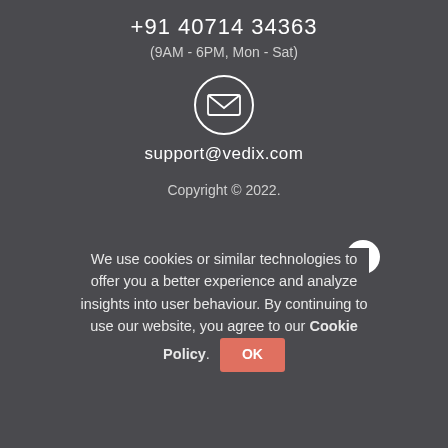+91 40714 34363
(9AM - 6PM, Mon - Sat)
[Figure (illustration): Circular envelope/email icon with a circle border and envelope symbol inside]
support@vedix.com
Copyright © 2022.
We use cookies or similar technologies to offer you a better experience and analyze insights into user behaviour. By continuing to use our website, you agree to our Cookie Policy.  OK